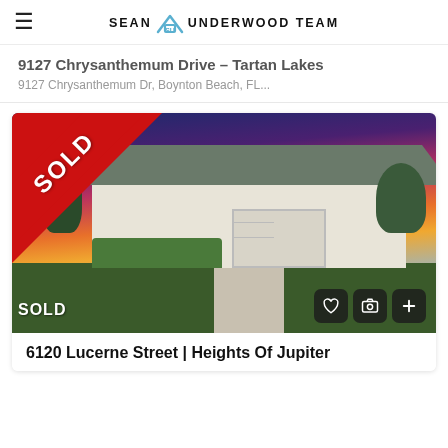Sean Underwood Team
9127 Chrysanthemum Drive – Tartan Lakes
9127 Chrysanthemum Dr, Boynton Beach, FL...
[Figure (photo): Exterior photo of a single-story white house with a two-car garage at sunset, showing a red SOLD banner across the top-left corner of the image. Action buttons (heart, camera, plus) are visible in the bottom-right corner.]
6120 Lucerne Street | Heights Of Jupiter